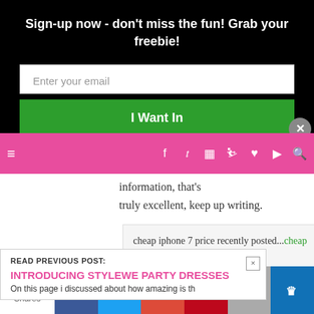Sign-up now - don't miss the fun! Grab your freebie!
information, that's truly excellent, keep up writing.
cheap iphone 7 price recently posted...cheap iphone 7 price (...)
READ PREVIOUS POST:
INTRODUCING STYLEWE PARTY DRESSES
10 Shares